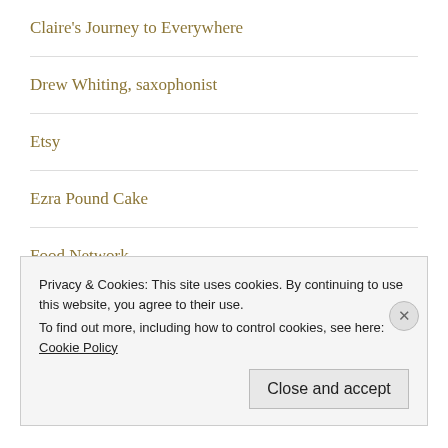Claire's Journey to Everywhere
Drew Whiting, saxophonist
Etsy
Ezra Pound Cake
Food Network
foodgawker
Privacy & Cookies: This site uses cookies. By continuing to use this website, you agree to their use.
To find out more, including how to control cookies, see here: Cookie Policy
Close and accept